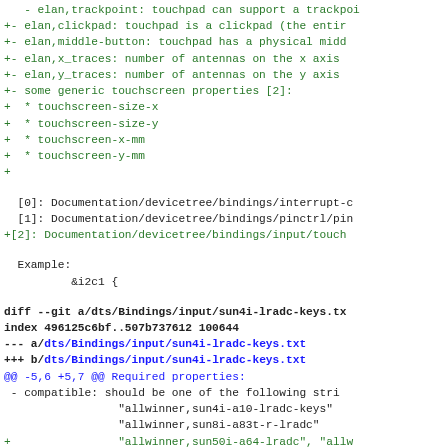- elan,trackpoint: touchpad can support a trackpoi
+- elan,clickpad: touchpad is a clickpad (the entir
+- elan,middle-button: touchpad has a physical midd
+- elan,x_traces: number of antennas on the x axis
+- elan,y_traces: number of antennas on the y axis
+- some generic touchscreen properties [2]:
+  * touchscreen-size-x
+  * touchscreen-size-y
+  * touchscreen-x-mm
+  * touchscreen-y-mm
+
[0]: Documentation/devicetree/bindings/interrupt-c
 [1]: Documentation/devicetree/bindings/pinctrl/pin
+[2]: Documentation/devicetree/bindings/input/touch
Example:
         &i2c1 {
diff --git a/dts/Bindings/input/sun4i-lradc-keys.tx
index 496125c6bf..507b737612 100644
--- a/dts/Bindings/input/sun4i-lradc-keys.txt
+++ b/dts/Bindings/input/sun4i-lradc-keys.txt
@@ -5,6 +5,7 @@ Required properties:
 - compatible: should be one of the following stri
                 "allwinner,sun4i-a10-lradc-keys"
                 "allwinner,sun8i-a83t-r-lradc"
+                "allwinner,sun50i-a64-lradc", "allw
 - reg: mmio address range of the chip
 - interrupts: interrupt to which the chip is conn